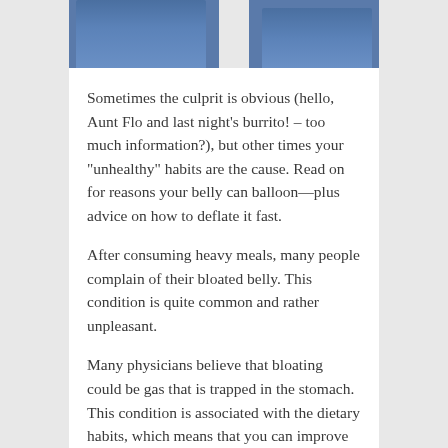[Figure (photo): Top portion of two people wearing blue jeans, showing waist/stomach area side by side]
Sometimes the culprit is obvious (hello, Aunt Flo and last night’s burrito! – too much information?), but other times your “unhealthy” habits are the cause. Read on for reasons your belly can balloon—plus advice on how to deflate it fast.
After consuming heavy meals, many people complain of their bloated belly. This condition is quite common and rather unpleasant.
Many physicians believe that bloating could be gas that is trapped in the stomach. This condition is associated with the dietary habits, which means that you can improve your condition by introducing healthy eating habits.